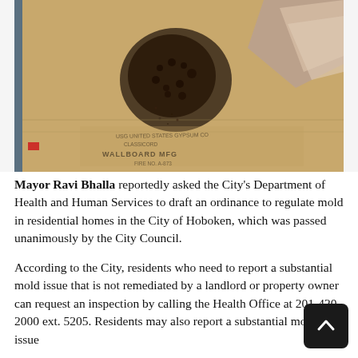[Figure (photo): Close-up photo of damaged drywall/wallboard showing mold growth and peeling paper. The wallboard label reads 'WALLBOARD' with additional text. There is a dark patch of mold visible on the brown/tan surface.]
Mayor Ravi Bhalla reportedly asked the City's Department of Health and Human Services to draft an ordinance to regulate mold in residential homes in the City of Hoboken, which was passed unanimously by the City Council.
According to the City, residents who need to report a substantial mold issue that is not remediated by a landlord or property owner can request an inspection by calling the Health Office at 201-420-2000 ext. 5205. Residents may also report a substantial mold issue